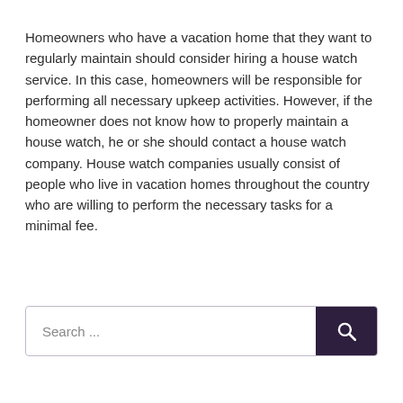Homeowners who have a vacation home that they want to regularly maintain should consider hiring a house watch service. In this case, homeowners will be responsible for performing all necessary upkeep activities. However, if the homeowner does not know how to properly maintain a house watch, he or she should contact a house watch company. House watch companies usually consist of people who live in vacation homes throughout the country who are willing to perform the necessary tasks for a minimal fee.
Search ...